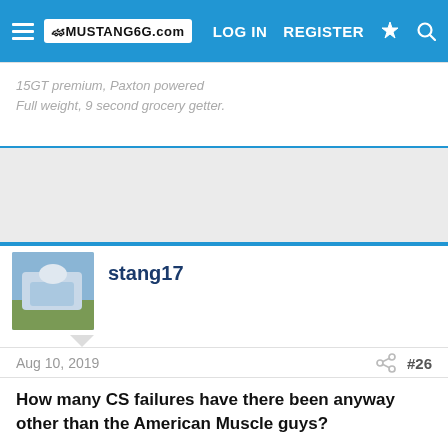Mustang6G.com — LOG IN  REGISTER
15GT premium, Paxton powered
Full weight, 9 second grocery getter.
[Figure (other): Gray advertisement/spacer block]
stang17
Aug 10, 2019  #26
How many CS failures have there been anyway other than the American Muscle guys?
17 GT Premium PP, Aluminator 11:1, BC Stage 3 MT-82, Whipple Gen 2 Stage 2, Magnaflow competition, Vogtland Sport sport springs 1 inch drop, Steeda vertical